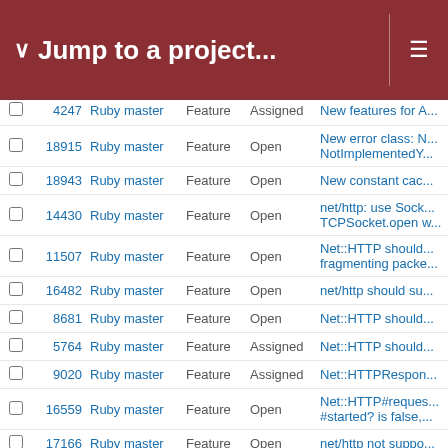Jump to a project...
|  | # | Project | Tracker | Status | Subject |
| --- | --- | --- | --- | --- | --- |
|  | 4247 | Ruby master | Feature | Assigned | New features for A... |
|  | 18915 | Ruby master | Feature | Open | New error class: N... NotImplementedY... |
|  | 18943 | Ruby master | Feature | Open | New constant cac... |
|  | 14430 | Ruby master | Feature | Open | net/http: use Sock... TCPSocket.open w... |
|  | 11507 | Ruby master | Feature | Open | Net::HTTP should... fragmenting packe... |
|  | 16482 | Ruby master | Feature | Open | net/http should su... |
|  | 8681 | Ruby master | Feature | Open | Net::HTTP should... |
|  | 5764 | Ruby master | Feature | Assigned | Net::HTTP should... |
|  | 9020 | Ruby master | Feature | Assigned | Net::HTTPRespon... |
|  | 16559 | Ruby master | Feature | Open | Net::HTTP#reques... #started? is false,... |
|  | 17166 | Ruby master | Feature | Open | net/http not suppo... |
|  | 10179 | Ruby master | Feature | Open | Net::HTTP::Get.ne... password) should... to true |
|  | 18661 | Ruby master | Bug | Open | Net/HTTP behavi... |